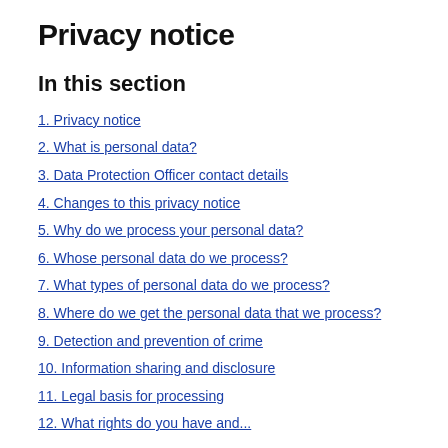Privacy notice
In this section
1. Privacy notice
2. What is personal data?
3. Data Protection Officer contact details
4. Changes to this privacy notice
5. Why do we process your personal data?
6. Whose personal data do we process?
7. What types of personal data do we process?
8. Where do we get the personal data that we process?
9. Detection and prevention of crime
10. Information sharing and disclosure
11. Legal basis for processing
12. What rights do you have and...